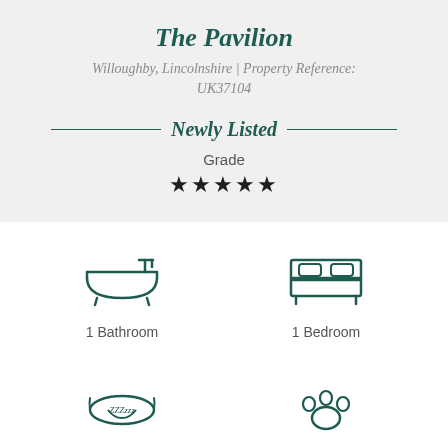The Pavilion
Willoughby, Lincolnshire | Property Reference: UK37104
Newly Listed
Grade
★★★★★
[Figure (illustration): Bathtub icon (outline style, teal/dark green color)]
1 Bathroom
[Figure (illustration): Bed icon (outline style, teal/dark green color)]
1 Bedroom
[Figure (illustration): Sleep mask icon with 'ZZZzzz' text (outline style, teal/dark green color)]
Sleeps 2
[Figure (illustration): Paw print icon (outline style, teal/dark green color)]
1 Pet